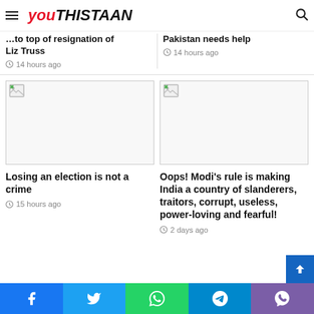Youthistaan - navigation header with logo and search
...to top of resignation of Liz Truss
14 hours ago
Pakistan needs help
14 hours ago
[Figure (photo): Broken/missing image placeholder for article about losing an election]
Losing an election is not a crime
15 hours ago
[Figure (photo): Broken/missing image placeholder for article about Modi's rule]
Oops! Modi's rule is making India a country of slanderers, traitors, corrupt, useless, power-loving and fearful!
2 days ago
Social share bar: Facebook, Twitter, WhatsApp, Telegram, Viber